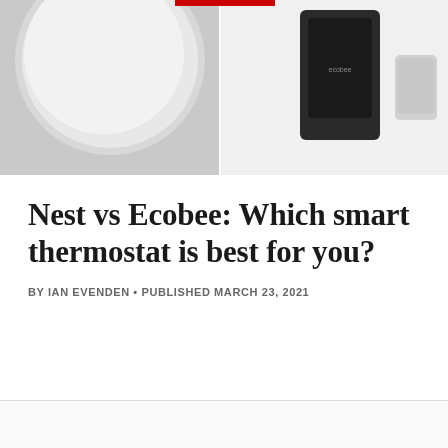[Figure (photo): Split hero image: left side shows a white/silver Nest thermostat on gray background, right side shows black Ecobee thermostat with small sensor on white background]
Nest vs Ecobee: Which smart thermostat is best for you?
BY IAN EVENDEN • PUBLISHED MARCH 23, 2021